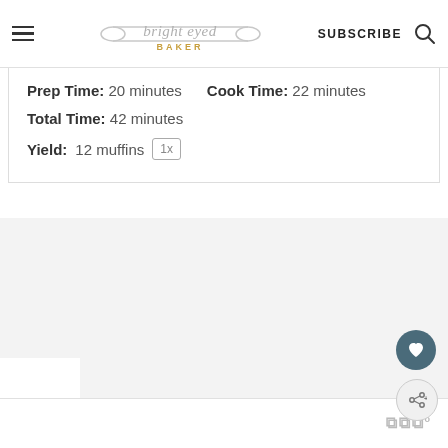[Figure (logo): Bright Eyed Baker logo with rolling pin graphic and script/serif text, with SUBSCRIBE and search icon in header]
Prep Time: 20 minutes   Cook Time: 22 minutes
Total Time: 42 minutes
Yield: 12 muffins 1x
[Figure (other): Gray lower content area with floating heart (favorite) button and share button on right side]
www°